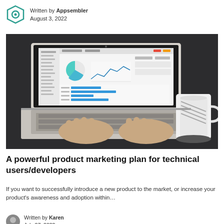Written by Appsembler
August 3, 2022
[Figure (photo): Person typing on a MacBook Air laptop displaying analytics dashboard with charts and graphs, with a white mug on the right side, on a dark surface]
A powerful product marketing plan for technical users/developers
If you want to successfully introduce a new product to the market, or increase your product's awareness and adoption within…
Written by Karen
July 27, 2022